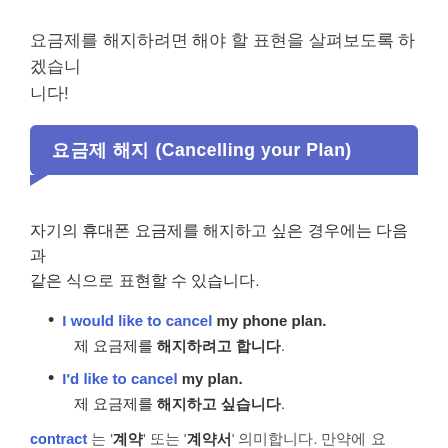요금제를 해지하려면 해야 할 표현을 살펴보도록 하겠습니다!
요금제 해지 (Cancelling your Plan)
자기의 휴대폰 요금제를 해지하고 싶은 경우에는 다음과 같은 식으로 표현할 수 있습니다.
I would like to cancel my phone plan.
제 요금제를 해지하려고 합니다.
I'd like to cancel my plan.
제 요금제를 해지하고 싶습니다.
contract 는 '계약' 또는 '계약서' 의미합니다. 만약에 요